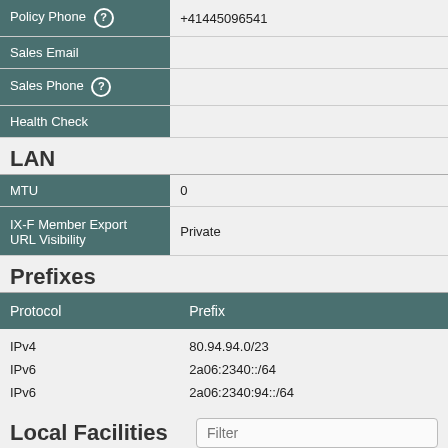|  |  |
| --- | --- |
| Policy Phone ? | +41445096541 |
| Sales Email |  |
| Sales Phone ? |  |
| Health Check |  |
LAN
|  |  |
| --- | --- |
| MTU | 0 |
| IX-F Member Export URL Visibility | Private |
Prefixes
| Protocol | Prefix |
| --- | --- |
| IPv4 | 80.94.94.0/23 |
| IPv6 | 2a06:2340::/64 |
| IPv6 | 2a06:2340:94::/64 |
Local Facilities
| Facility | Country | City |
| --- | --- | --- |